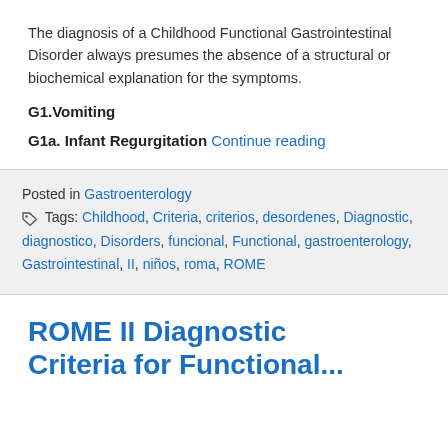The diagnosis of a Childhood Functional Gastrointestinal Disorder always presumes the absence of a structural or biochemical explanation for the symptoms.
G1.Vomiting
G1a. Infant Regurgitation Continue reading
Posted in Gastroenterology
Tags: Childhood, Criteria, criterios, desordenes, Diagnostic, diagnostico, Disorders, funcional, Functional, gastroenterology, Gastrointestinal, II, niños, roma, ROME
ROME II Diagnostic Criteria for Functional...